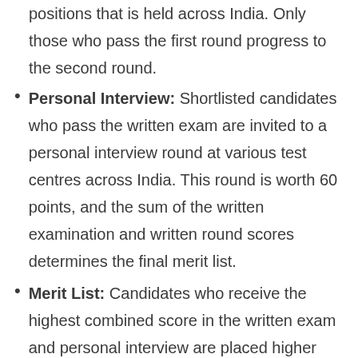positions that is held across India. Only those who pass the first round progress to the second round.
Personal Interview: Shortlisted candidates who pass the written exam are invited to a personal interview round at various test centres across India. This round is worth 60 points, and the sum of the written examination and written round scores determines the final merit list.
Merit List: Candidates who receive the highest combined score in the written exam and personal interview are placed higher